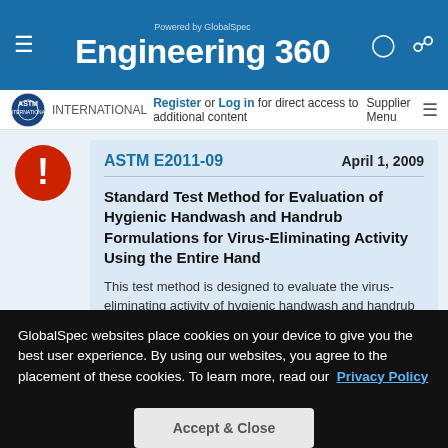Engineering 360 — Powered by GlobalSpec
Register or Log in for direct access to additional content
ASTM E2011-09 — April 1, 2009 — Standard Test Method for Evaluation of Hygienic Handwash and Handrub Formulations for Virus-Eliminating Activity Using the Entire Hand
This test method is designed to evaluate the virus-eliminating activity of hygienic handwash and handrub agents from experimentally-
GlobalSpec websites place cookies on your device to give you the best user experience. By using our websites, you agree to the placement of these cookies. To learn more, read our Privacy Policy
Accept & Close